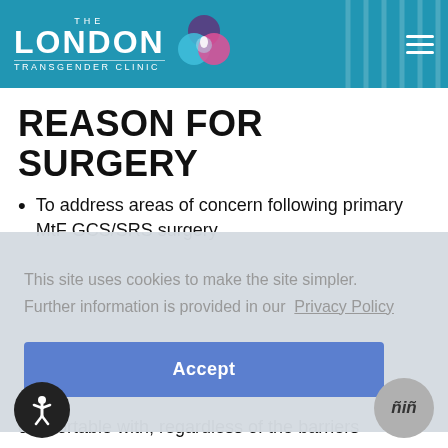THE LONDON TRANSGENDER CLINIC
REASON FOR SURGERY
To address areas of concern following primary MtF GCS/SRS surgery
This site uses cookies to make the site simpler. Further information is provided in our Privacy Policy
Accept
comfortable with, regardless of the barriers